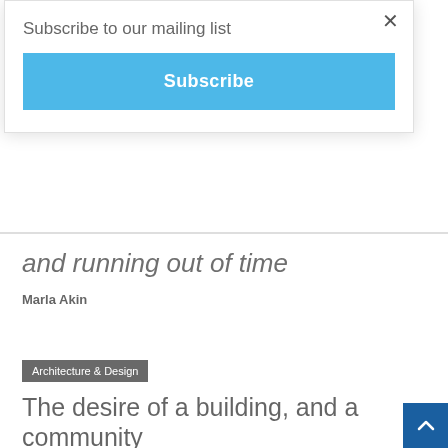Subscribe to our mailing list
Subscribe
and running out of time
Marla Akin
Architecture & Design
The desire of a building, and a community